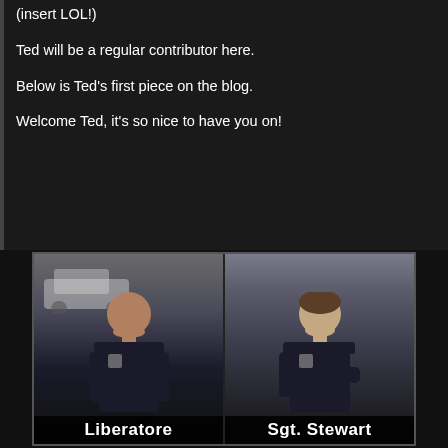(insert LOL!)
Ted will be a regular contributor here.
Below is Ted's first piece on the blog.
Welcome Ted, it's so nice to have you on!
[Figure (photo): A meme-style image split into two panels showing two police officers in uniform. Left panel shows a bald officer labeled 'Liberatore'. Right panel shows another officer labeled 'Sgt. Stewart'. Both appear to be in outdoor/parking lot settings.]